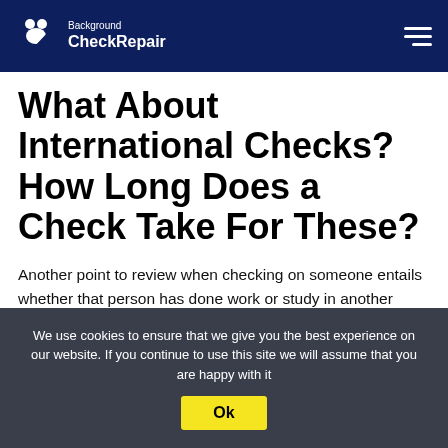Background CheckRepair
What About International Checks? How Long Does a Check Take For These?
Another point to review when checking on someone entails whether that person has done work or study in another country. An international background check can work when trying to find information on someone who lived in another country. The data can involve a person who lived elsewhere for work or school purposes.
We use cookies to ensure that we give you the best experience on our website. If you continue to use this site we will assume that you are happy with it